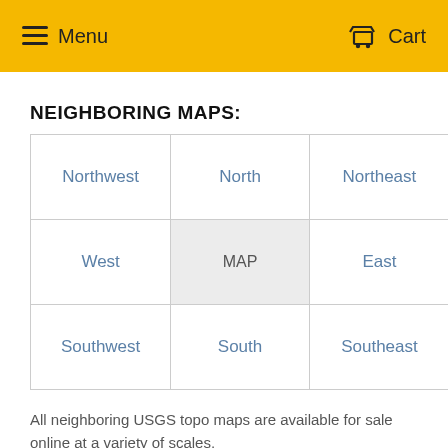Menu   Cart
NEIGHBORING MAPS:
| Northwest | North | Northeast |
| West | MAP | East |
| Southwest | South | Southeast |
All neighboring USGS topo maps are available for sale online at a variety of scales.
SPATIAL COVERAGE:
Topo map Electric Peak, Montana, covers the geographical area associated the following places: